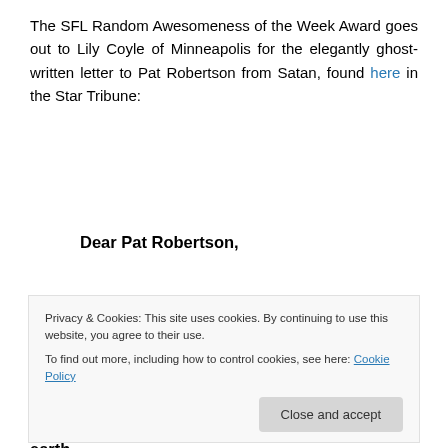The SFL Random Awesomeness of the Week Award goes out to Lily Coyle of Minneapolis for the elegantly ghost-written letter to Pat Robertson from Satan, found here in the Star Tribune:
Dear Pat Robertson,
I know that you know that all press is good press, so I appreciate the shout-out. And you make God look like a big mean bully who kicks people when they are down, so I'm all over that action. But when you say that Haiti has made a pact with me...
Privacy & Cookies: This site uses cookies. By continuing to use this website, you agree to their use.
To find out more, including how to control cookies, see here: Cookie Policy
with people, they first get something here on earth